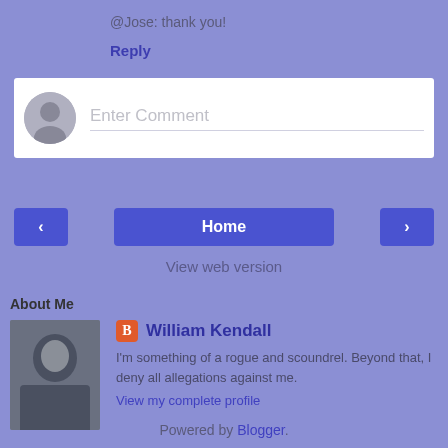@Jose: thank you!
Reply
[Figure (screenshot): Comment input box with avatar placeholder and 'Enter Comment' placeholder text]
< (previous button)
Home
> (next button)
View web version
About Me
[Figure (photo): Profile photo of William Kendall, a bald man]
William Kendall
I'm something of a rogue and scoundrel. Beyond that, I deny all allegations against me.
View my complete profile
Powered by Blogger.